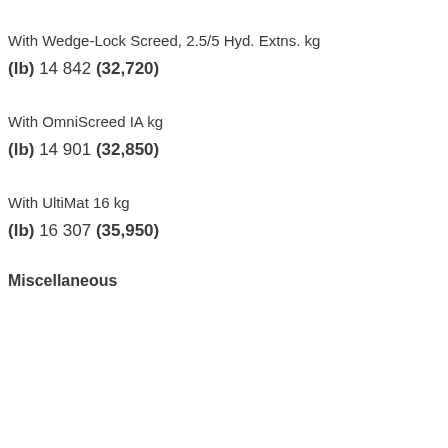With Wedge-Lock Screed, 2.5/5 Hyd. Extns. kg
(lb) 14 842 (32,720)
With OmniScreed IA kg
(lb) 14 901 (32,850)
With UltiMat 16 kg
(lb) 16 307 (35,950)
Miscellaneous